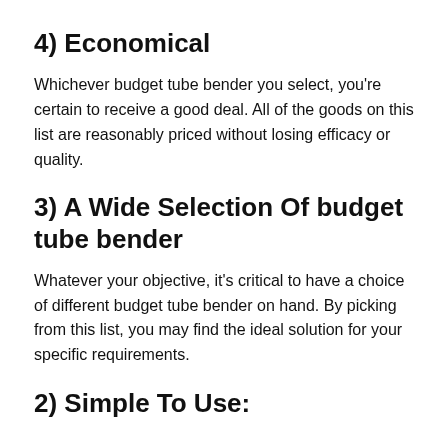4) Economical
Whichever budget tube bender you select, you're certain to receive a good deal. All of the goods on this list are reasonably priced without losing efficacy or quality.
3) A Wide Selection Of budget tube bender
Whatever your objective, it's critical to have a choice of different budget tube bender on hand. By picking from this list, you may find the ideal solution for your specific requirements.
2) Simple To Use: